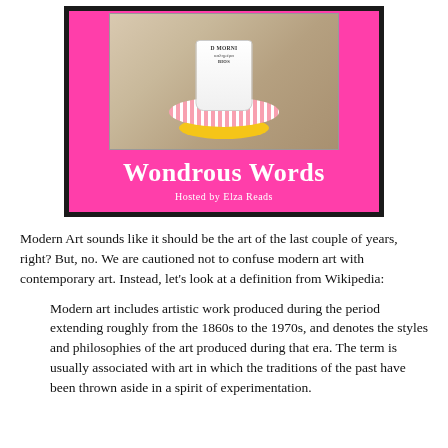[Figure (illustration): Wondrous Words banner image with a photo of a coffee mug on a striped fabric coaster on a granite surface, with a hot pink background below the photo showing the text 'Wondrous Words' in large white serif font and 'Hosted by Elza Reads' in smaller white text.]
Modern Art sounds like it should be the art of the last couple of years, right? But, no. We are cautioned not to confuse modern art with contemporary art. Instead, let's look at a definition from Wikipedia:
Modern art includes artistic work produced during the period extending roughly from the 1860s to the 1970s, and denotes the styles and philosophies of the art produced during that era. The term is usually associated with art in which the traditions of the past have been thrown aside in a spirit of experimentation.